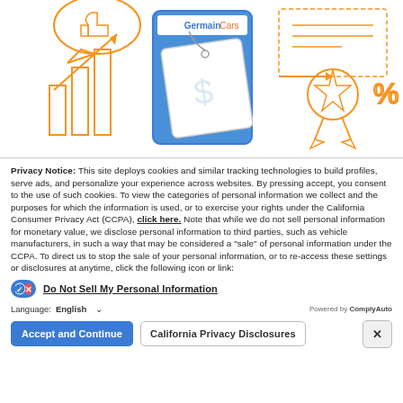[Figure (illustration): Illustrated graphic of an automotive dealership pricing scene with orange line-art elements: bar chart with upward arrow, speech bubble with thumbs up, a blue phone/tablet showing a GermainCars price tag with dollar sign, a ribbon/award badge, and a percent sign.]
Privacy Notice: This site deploys cookies and similar tracking technologies to build profiles, serve ads, and personalize your experience across websites. By pressing accept, you consent to the use of such cookies. To view the categories of personal information we collect and the purposes for which the information is used, or to exercise your rights under the California Consumer Privacy Act (CCPA), click here. Note that while we do not sell personal information for monetary value, we disclose personal information to third parties, such as vehicle manufacturers, in such a way that may be considered a "sale" of personal information under the CCPA. To direct us to stop the sale of your personal information, or to re-access these settings or disclosures at anytime, click the following icon or link:
Do Not Sell My Personal Information
Language: English
Powered by ComplyAuto
Accept and Continue
California Privacy Disclosures
×